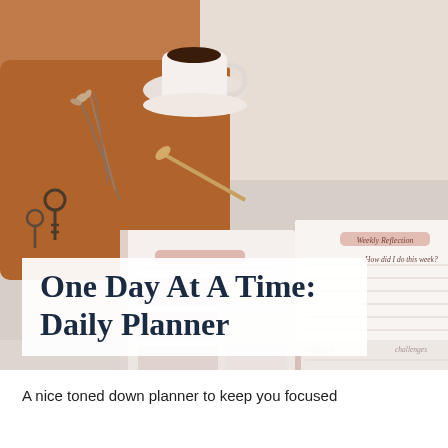[Figure (photo): An open daily planner/journal laid on a bed with white linens, showing pages with weekly reflection sections and planning layouts. A cup of coffee, dried flowers, and keys are visible on a warm brown tray in the background.]
One Day At A Time: Daily Planner
A nice toned down planner to keep you focused